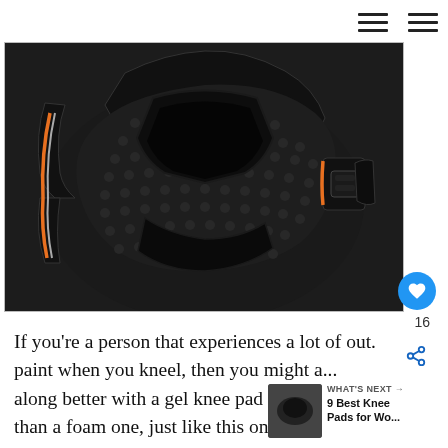Navigation menu icons
[Figure (photo): Close-up photo of a black knee pad with textured rubber surface, orange trim stitching, and a side buckle fastener on a black strap, product photography on white background]
16
If you're a person that experiences a lot of out. paint when you kneel, then you might a... along better with a gel knee pad design rather than a foam one, just like this one from Klein
[Figure (photo): Small thumbnail of knee pads product for 9 Best Knee Pads for Wo... article]